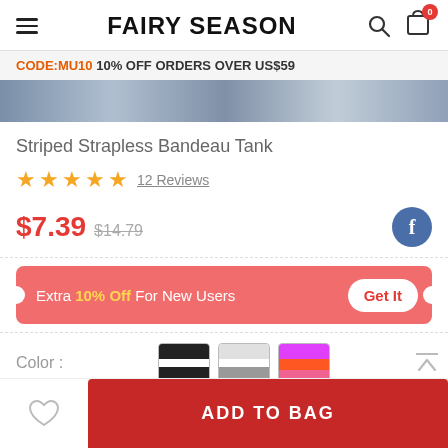FAIRY SEASON
CODE:MU10 10% OFF ORDERS OVER US$59
[Figure (photo): Product image strip showing a striped strapless bandeau tank top]
Striped Strapless Bandeau Tank
★★★★★ 12 Reviews
$7.39  $14.79
Extra 10% Off For New Users  Get It
Color :
[Figure (photo): Three color swatches: black/white stripe, grey/white stripe, pink/orange stripe]
ADD TO BAG